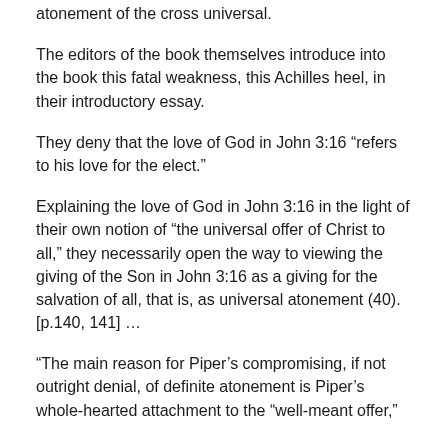atonement of the cross universal.
The editors of the book themselves introduce into the book this fatal weakness, this Achilles heel, in their introductory essay.
They deny that the love of God in John 3:16 “refers to his love for the elect.”
Explaining the love of God in John 3:16 in the light of their own notion of “the universal offer of Christ to all,” they necessarily open the way to viewing the giving of the Son in John 3:16 as a giving for the salvation of all, that is, as universal atonement (40).  [p.140, 141] …
“The main reason for Piper’s compromising, if not outright denial, of definite atonement is Piper’s whole-hearted attachment to the “well-meant offer,”